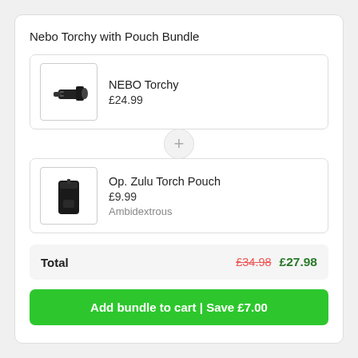Nebo Torchy with Pouch Bundle
[Figure (photo): NEBO Torchy torch/flashlight product image]
NEBO Torchy
£24.99
[Figure (photo): Op. Zulu Torch Pouch product image, black pouch]
Op. Zulu Torch Pouch
£9.99
Ambidextrous
Total  £34.98  £27.98
Add bundle to cart | Save £7.00